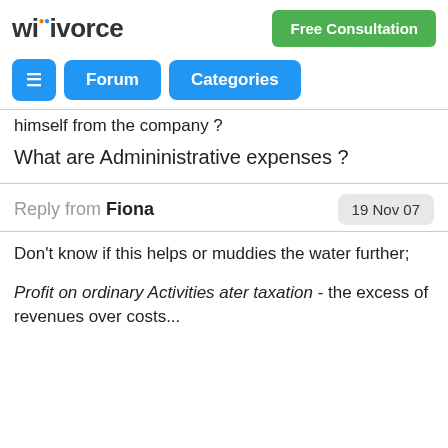wikivorce | Free Consultation
himself from the company ?
What are Admininistrative expenses ?
Reply from Fiona | 19 Nov 07
Don't know if this helps or muddies the water further;
Profit on ordinary Activities ater taxation - the excess of revenues over costs...